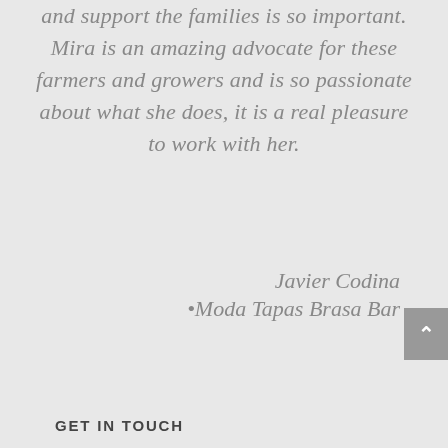and support the families is so important. Mira is an amazing advocate for these farmers and growers and is so passionate about what she does, it is a real pleasure to work with her.
Javier Codina
•Moda Tapas Brasa Bar
GET IN TOUCH